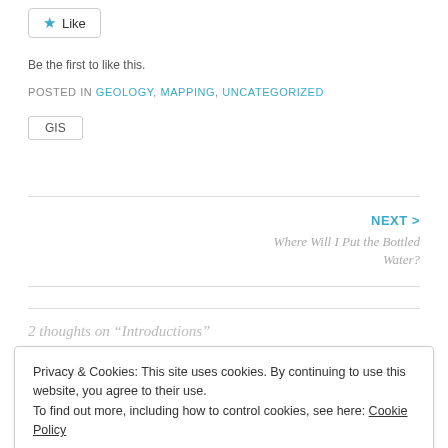★ Like
Be the first to like this.
POSTED IN GEOLOGY, MAPPING, UNCATEGORIZED
GIS
NEXT > Where Will I Put the Bottled Water?
2 thoughts on "Introductions"
Privacy & Cookies: This site uses cookies. By continuing to use this website, you agree to their use. To find out more, including how to control cookies, see here: Cookie Policy
Close and accept
Hello Sara, your work sounds so fascinating! In some...